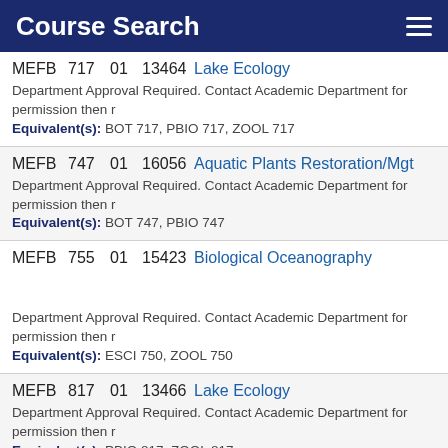Course Search
MEFB 717 01 13464 Lake Ecology
Department Approval Required. Contact Academic Department for permission then r
Equivalent(s): BOT 717, PBIO 717, ZOOL 717
MEFB 747 01 16056 Aquatic Plants Restoration/Mgt
Department Approval Required. Contact Academic Department for permission then r
Equivalent(s): BOT 747, PBIO 747
MEFB 755 01 15423 Biological Oceanography
Department Approval Required. Contact Academic Department for permission then r
Equivalent(s): ESCI 750, ZOOL 750
MEFB 817 01 13466 Lake Ecology
Department Approval Required. Contact Academic Department for permission then r
Equivalent(s): PBIO 817, ZOOL 817
MEFB 847 01 16057 Aquatic Plants Restoration/Mgt
Department Approval Required. Contact Academic Department for permission then r
Equivalent(s): PBIO 847